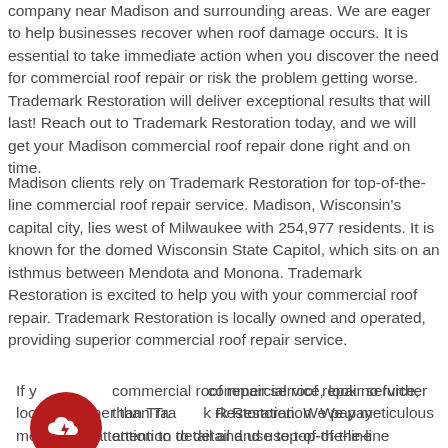company near Madison and surrounding areas. We are eager to help businesses recover when roof damage occurs. It is essential to take immediate action when you discover the need for commercial roof repair or risk the problem getting worse. Trademark Restoration will deliver exceptional results that will last! Reach out to Trademark Restoration today, and we will get your Madison commercial roof repair done right and on time.
Madison clients rely on Trademark Restoration for top-of-the-line commercial roof repair service. Madison, Wisconsin's capital city, lies west of Milwaukee with 254,977 residents. It is known for the domed Wisconsin State Capitol, which sits on an isthmus between Mendota and Monona. Trademark Restoration is excited to help you with your commercial roof repair. Trademark Restoration is locally owned and operated, providing superior commercial roof repair service.
[Figure (logo): Dark red circular icon with a cloud and lightning bolt symbol]
If you need commercial roof repair service, look no further than Trademark Restoration. We pay meticulous attention to detail and use top-of-the-line products. Our experienced, licensed, and